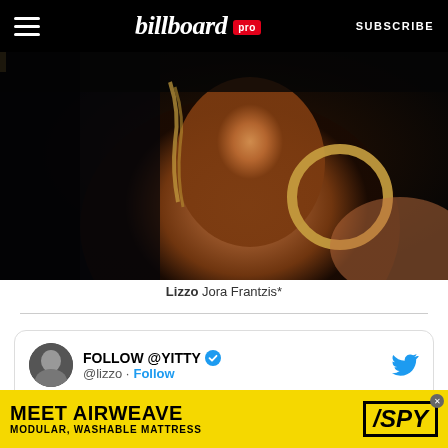billboard pro  SUBSCRIBE
[Figure (photo): Close-up portrait of Lizzo wearing large gold hoop earrings and gold accessories, against a dark background]
Lizzo Jora Frantzis*
[Figure (screenshot): Embedded tweet from @lizzo: FOLLOW @YITTY (verified) @lizzo · Follow  CURRENTLY]
[Figure (other): Advertisement banner: MEET AIRWEAVE MODULAR, WASHABLE MATTRESS / SPY]